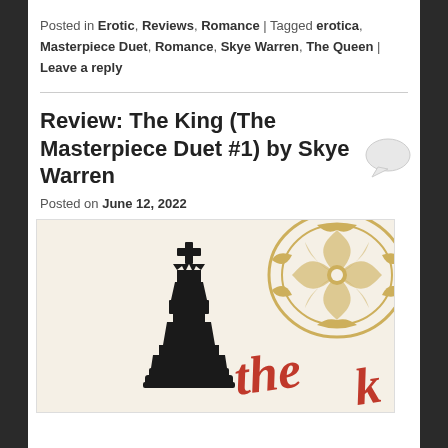Posted in Erotic, Reviews, Romance | Tagged erotica, Masterpiece Duet, Romance, Skye Warren, The Queen | Leave a reply
Review: The King (The Masterpiece Duet #1) by Skye Warren
Posted on June 12, 2022
[Figure (illustration): Book cover image for 'The King' by Skye Warren showing a black chess king piece on the left against a cream/ivory background, with gold ornamental baroque/filigree design in the upper right corner, and red cursive script reading 'the k' (beginning of 'the king') across the lower portion.]